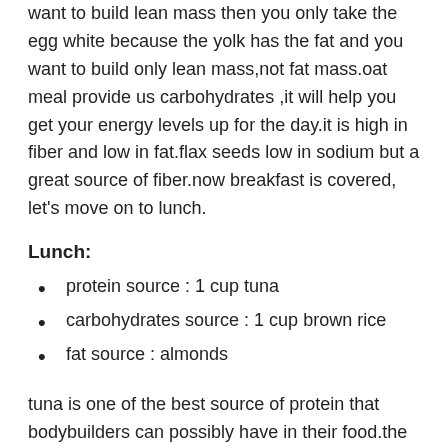egg whites are the best thing in your breakfast.if you want to build lean mass then you only take the egg white because the yolk has the fat and you want to build only lean mass,not fat mass.oat meal provide us carbohydrates ,it will help you get your energy levels up for the day.it is high in fiber and low in fat.flax seeds low in sodium but a great source of fiber.now breakfast is covered, let’s move on to lunch.
Lunch:
protein source : 1 cup tuna
carbohydrates source : 1 cup brown rice
fat source : almonds
tuna is one of the best source of protein that bodybuilders can possibly have in their food.the best